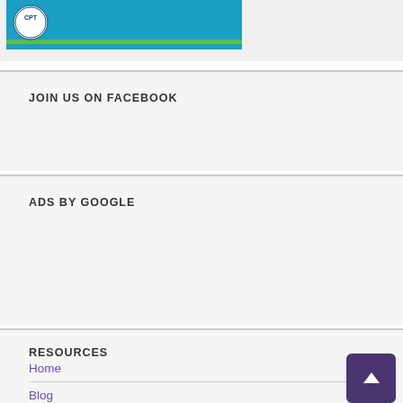[Figure (logo): CPT organization banner/logo with blue background and green stripe]
JOIN US ON FACEBOOK
ADS BY GOOGLE
RESOURCES
Home
Blog
Special Topics
Fast Facts